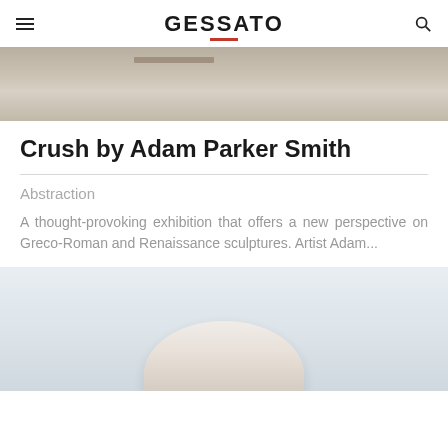GESSATO
[Figure (photo): Interior gallery space with minimalist concrete floor and partial view of sculptural installation]
Crush by Adam Parker Smith
Abstraction
A thought-provoking exhibition that offers a new perspective on Greco-Roman and Renaissance sculptures. Artist Adam...
[Figure (photo): White sculptural form resembling a classical bust or figure, shown against a light grey background]